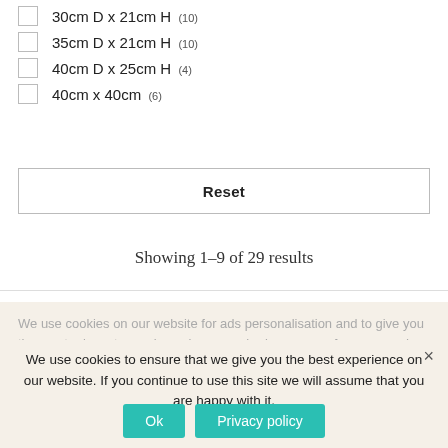30cm D x 21cm H (10)
35cm D x 21cm H (10)
40cm D x 25cm H (4)
40cm x 40cm (6)
Reset
Showing 1–9 of 29 results
We use cookies on our website for ads personalisation and to give you the most relevant experience by remembering your preferences and repeat visits. . By clicking "Accept All", you consent to the use of ALL the cookies. However, you may visit "Cookie Settings" to provide a controlled consent.
We use cookies to ensure that we give you the best experience on our website. If you continue to use this site we will assume that you are happy with it.